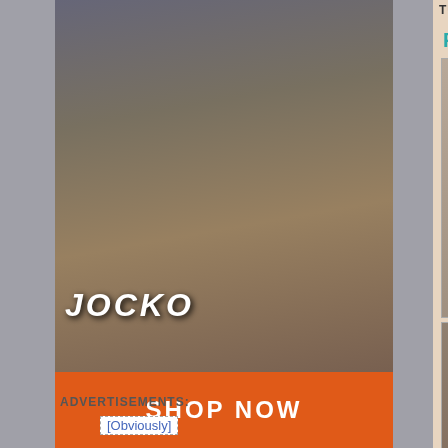[Figure (photo): Jocko underwear advertisement with muscular male model in tank top and briefs, JOCKO logo, bulldog graphic, SHOP NOW button on orange background]
ADVERTISEMENTS:
[Figure (other): Obviously advertisement placeholder image]
TUESDAY, SEPTEMBER 30
Free shipping at Und...
[Figure (photo): Cotton Spandex Low Rise Brief product photo - lavender/white underwear on male model]
[Figure (photo): Low Rise Brief product photo - brown underwear on male model]
Get free shipping on a... Promotion ends October...
Posted by U... 4:30 P...